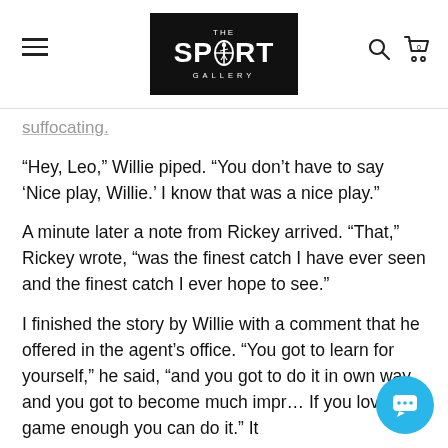THE SPORT GALLERY
suffocating.
“Hey, Leo,” Willie piped. “You don’t have to say ‘Nice play, Willie.’ I know that was a nice play.”
A minute later a note from Rickey arrived. “That,” Rickey wrote, “was the finest catch I have ever seen and the finest catch I ever hope to see.”
I finished the story by Willie with a comment that he offered in the agent’s office. “You got to learn for yourself,” he said, “and you got to do it in own way and you got to become much impr… If you love the game enough you can do it.” It